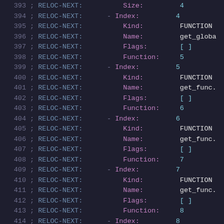Code listing lines 393-414 showing RELOC-NEXT assembly annotations with fields Size, Index, Kind, Name, Flags, Function
393 ; RELOC-NEXT:          Size:         4
394 ; RELOC-NEXT:        - Index:         4
395 ; RELOC-NEXT:          Kind:         FUNCTION
396 ; RELOC-NEXT:          Name:         get_globa
397 ; RELOC-NEXT:          Flags:        [ ]
398 ; RELOC-NEXT:          Function:     5
399 ; RELOC-NEXT:        - Index:         5
400 ; RELOC-NEXT:          Kind:         FUNCTION
401 ; RELOC-NEXT:          Name:         get_func
402 ; RELOC-NEXT:          Flags:        [ ]
403 ; RELOC-NEXT:          Function:     6
404 ; RELOC-NEXT:        - Index:         6
405 ; RELOC-NEXT:          Kind:         FUNCTION
406 ; RELOC-NEXT:          Name:         get_func
407 ; RELOC-NEXT:          Flags:        [ ]
408 ; RELOC-NEXT:          Function:     7
409 ; RELOC-NEXT:        - Index:         7
410 ; RELOC-NEXT:          Kind:         FUNCTION
411 ; RELOC-NEXT:          Name:         get_func
412 ; RELOC-NEXT:          Flags:        [ ]
413 ; RELOC-NEXT:          Function:     8
414 ; RELOC-NEXT:        - Index:         8